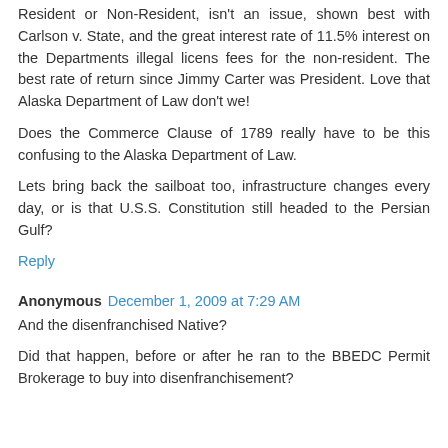Resident or Non-Resident, isn't an issue, shown best with Carlson v. State, and the great interest rate of 11.5% interest on the Departments illegal licens fees for the non-resident. The best rate of return since Jimmy Carter was President. Love that Alaska Department of Law don't we!
Does the Commerce Clause of 1789 really have to be this confusing to the Alaska Department of Law.
Lets bring back the sailboat too, infrastructure changes every day, or is that U.S.S. Constitution still headed to the Persian Gulf?
Reply
Anonymous December 1, 2009 at 7:29 AM
And the disenfranchised Native?
Did that happen, before or after he ran to the BBEDC Permit Brokerage to buy into disenfranchisement?